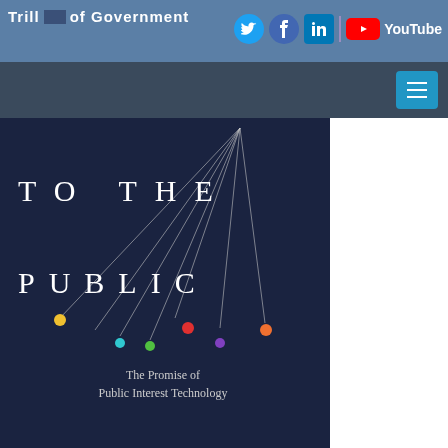Tmill of Government
[Figure (illustration): Social media icons: Twitter (blue circle), Facebook (blue circle), LinkedIn (blue rounded square), purple vertical divider line, YouTube (red button with play icon) and YouTube text]
[Figure (screenshot): Hamburger menu button (three horizontal white lines on cyan/blue background) in dark navigation bar]
[Figure (illustration): Book cover with dark navy background showing the text 'TO THE PUBLIC' with colorful dot pendulums hanging from lines converging at the top, and subtitle 'The Promise of Public Interest Technology']